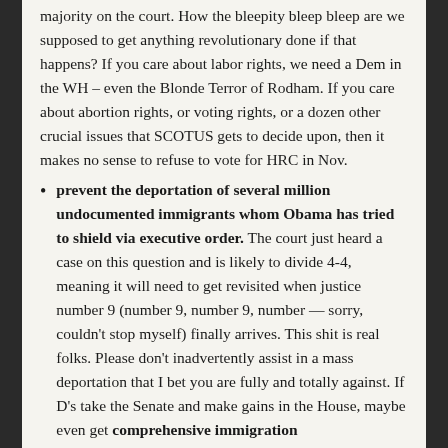majority on the court. How the bleepity bleep bleep are we supposed to get anything revolutionary done if that happens? If you care about labor rights, we need a Dem in the WH – even the Blonde Terror of Rodham. If you care about abortion rights, or voting rights, or a dozen other crucial issues that SCOTUS gets to decide upon, then it makes no sense to refuse to vote for HRC in Nov.
prevent the deportation of several million undocumented immigrants whom Obama has tried to shield via executive order. The court just heard a case on this question and is likely to divide 4-4, meaning it will need to get revisited when justice number 9 (number 9, number 9, number — sorry, couldn't stop myself) finally arrives. This shit is real folks. Please don't inadvertently assist in a mass deportation that I bet you are fully and totally against. If D's take the Senate and make gains in the House, maybe even get comprehensive immigration